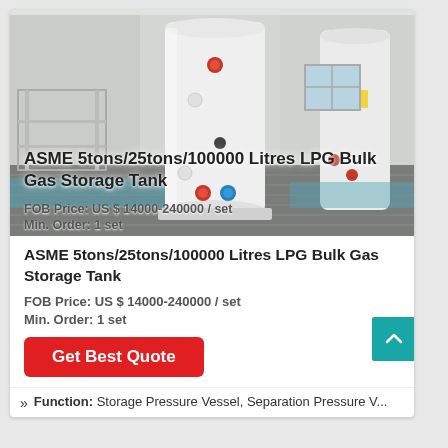[Figure (photo): Photo of a tall vertical white cylindrical LPG bulk gas storage tank/pressure vessel in an industrial factory setting, with valves and fittings visible.]
ASME 5tons/25tons/100000 Litres LPG Bulk Gas Storage Tank
FOB Price: US $ 14000-240000 / set
Min. Order: 1 set
Get Best Quote
Function: Storage Pressure Vessel, Separation Pressure V...